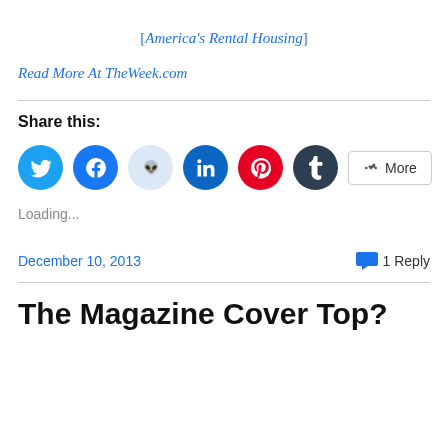[America's Rental Housing]
Read More At TheWeek.com
Share this:
[Figure (infographic): Social share buttons: Twitter (blue), Facebook (blue), Reddit (light blue), LinkedIn (dark blue), Pinterest (red), Tumblr (dark), and a More button]
Loading...
December 10, 2013
1 Reply
The Magazine Cover Top?